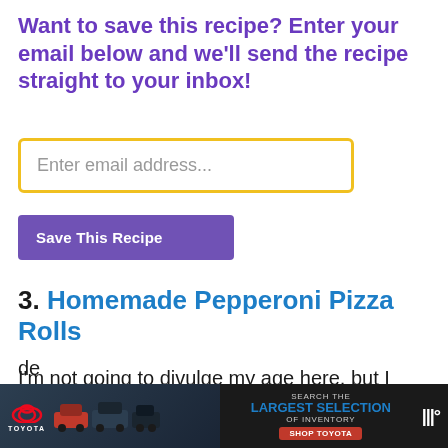Want to save this recipe? Enter your email below and we'll send the recipe straight to your inbox!
[Figure (other): Email input field with yellow border, placeholder text 'Enter email address...']
[Figure (other): Purple 'Save This Recipe' button]
3. Homemade Pepperoni Pizza Rolls
I'm not going to divulge my age here, but I will say that I'm probably past the prime
[Figure (other): Advertisement banner: Toyota cars with text 'SEARCH THE LARGEST SELECTION OF INVENTORY' and 'SHOP TOYOTA' button]